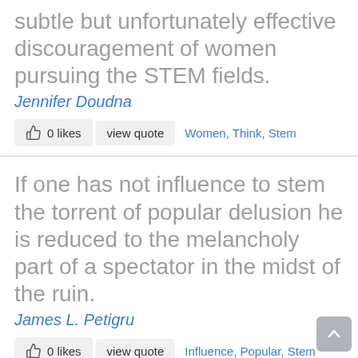subtle but unfortunately effective discouragement of women pursuing the STEM fields.
Jennifer Doudna
0 likes   view quote   Women, Think, Stem
If one has not influence to stem the torrent of popular delusion he is reduced to the melancholy part of a spectator in the midst of the ruin.
James L. Petigru
0 likes   view quote   Influence, Popular, Stem